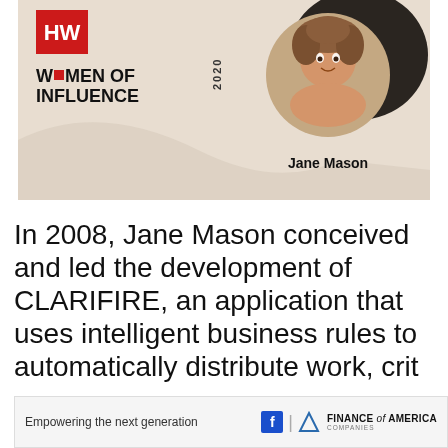[Figure (photo): HousingWire Women of Influence 2020 banner featuring Jane Mason. Red HW logo in top left, 'Women of Influence 2020' text below, circular portrait photo of Jane Mason on right side with dark blob background element. Name 'Jane Mason' displayed below photo.]
In 2008, Jane Mason conceived and led the development of CLARIFIRE, an application that uses intelligent business rules to automatically distribute work, crit
[Figure (other): Advertisement banner: 'Empowering the next generation' with Finance of America Companies logo (blue F square, triangle icon, Finance of America Companies text)]